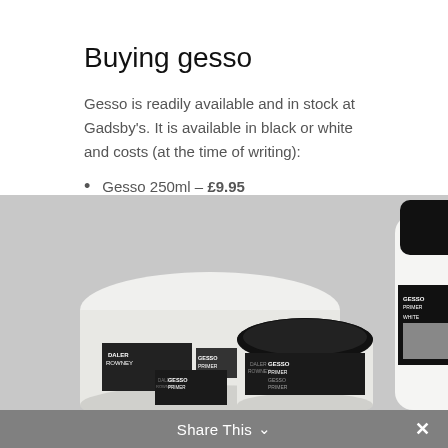Buying gesso
Gesso is readily available and in stock at Gadsby's. It is available in black or white and costs (at the time of writing):
Gesso 250ml – £9.95
Gesso 500ml – £11.95
Gesso 1000ml – £22.95
[Figure (photo): Three Daler-Rowney Gesso Primer containers of different sizes with black lids on a grey surface]
Share This ✓  ✕